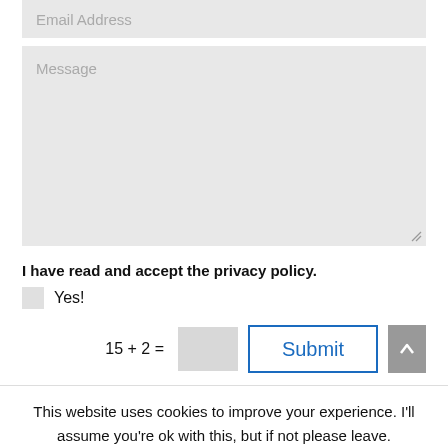[Figure (screenshot): Email Address input field (greyed out placeholder text)]
[Figure (screenshot): Message textarea field (greyed out placeholder text) with resize handle]
I have read and accept the privacy policy.
Yes!
15 + 2 =
Submit
This website uses cookies to improve your experience. I'll assume you're ok with this, but if not please leave.
Accept
Reject & leave
Read More (Privacy Policy)